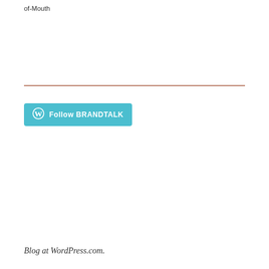of-Mouth
[Figure (other): Horizontal dark red/brown divider line]
[Figure (other): Follow BRANDTALK button with WordPress icon in cyan/teal color]
Blog at WordPress.com.